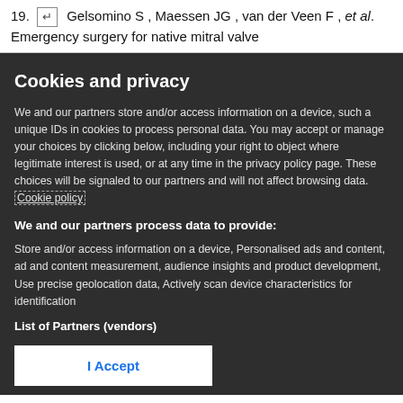19. ↵ Gelsomino S , Maessen JG , van der Veen F , et al. Emergency surgery for native mitral valve
Cookies and privacy
We and our partners store and/or access information on a device, such a unique IDs in cookies to process personal data. You may accept or manage your choices by clicking below, including your right to object where legitimate interest is used, or at any time in the privacy policy page. These choices will be signaled to our partners and will not affect browsing data. Cookie policy
We and our partners process data to provide:
Store and/or access information on a device, Personalised ads and content, ad and content measurement, audience insights and product development, Use precise geolocation data, Actively scan device characteristics for identification
List of Partners (vendors)
I Accept